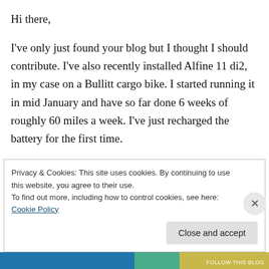Hi there,
I've only just found your blog but I thought I should contribute. I've also recently installed Alfine 11 di2, in my case on a Bullitt cargo bike. I started running it in mid January and have so far done 6 weeks of roughly 60 miles a week. I've just recharged the battery for the first time.
I wish you had been as happy as I am. Not to take away from your negative experience but so far I've loved my Alfine di2. I switched from
Privacy & Cookies: This site uses cookies. By continuing to use this website, you agree to their use.
To find out more, including how to control cookies, see here: Cookie Policy